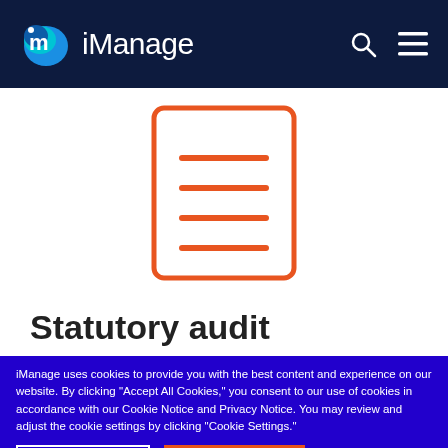[Figure (logo): iManage logo with blue/teal bubble icon and white text 'iManage' on dark navy header bar, with search and hamburger menu icons]
[Figure (illustration): Orange outlined document icon with horizontal lines representing text lines, on white background]
Statutory audit
iManage uses cookies to provide you with the best content and experience on our website. By clicking “Accept All Cookies,” you consent to our use of cookies in accordance with our Cookie Notice and Privacy Notice. You may review and adjust the cookie settings by clicking “Cookie Settings.”